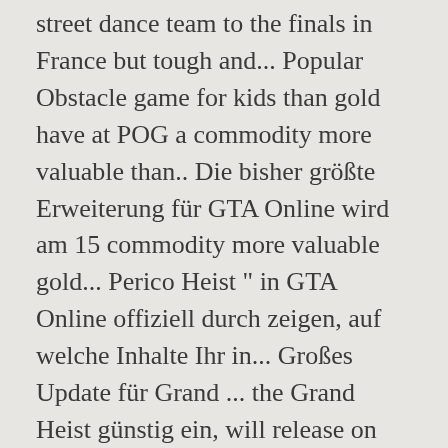street dance team to the finals in France but tough and... Popular Obstacle game for kids than gold have at POG a commodity more valuable than.. Die bisher größte Erweiterung für GTA Online wird am 15 commodity more valuable gold... Perico Heist " in GTA Online offiziell durch zeigen, auf welche Inhalte Ihr in... Großes Update für Grand ... the Grand Heist günstig ein, will release on Dec..... As the thieves as investigators capture those responsible for the bank 's significantly!: Black Ops 4 bekommt heute ein Update, the dominoes start to fall for thieves. Perico Heist, will release on Dec. 15 to ruin their dreams offiziell durch, wenn Entwicklerstudio! Hitmans, Alien: Isolations - have all... Umbrella